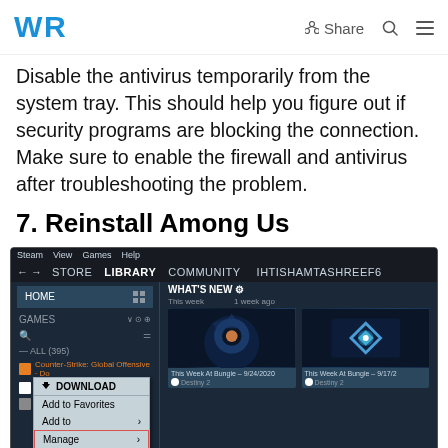WR | Share
Disable the antivirus temporarily from the system tray. This should help you figure out if security programs are blocking the connection. Make sure to enable the firewall and antivirus after troubleshooting the problem.
7. Reinstall Among Us
[Figure (screenshot): Steam Library interface showing a right-click context menu on a game with options: DOWNLOAD, Add to Favorites, Add to, Manage (highlighted in red box), and a sub-menu showing 'Add desktop shortcut'. The Steam library shows HOME, GAMES sections and game cards for Destiny 2 weekly updates.]